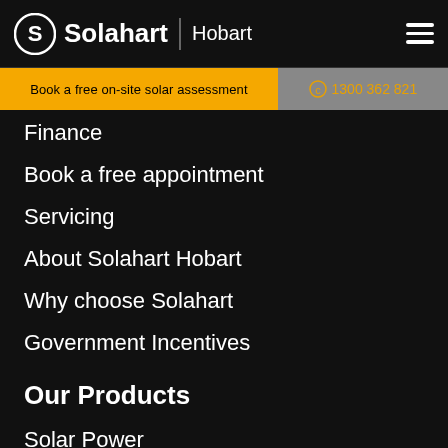Solahart Hobart
Book a free on-site solar assessment | 1300 362 821
Finance
Book a free appointment
Servicing
About Solahart Hobart
Why choose Solahart
Government Incentives
Our Products
Solar Power
Hot Water